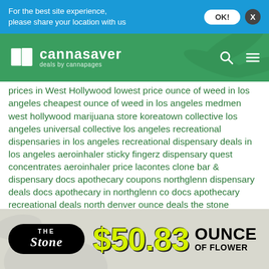For the best site experience, please share your location with us
[Figure (logo): Cannasaver logo with book icon and tagline 'deals by cannapages' on green background]
prices in West Hollywood lowest price ounce of weed in los angeles cheapest ounce of weed in los angeles medmen west hollywood marijuana store koreatown collective los angeles universal collective los angeles recreational dispensaries in los angeles recreational dispensary deals in los angeles aeroinhaler sticky fingerz dispensary quest concentrates aeroinhaler price lacontes clone bar & dispensary docs apothecary coupons northglenn dispensary deals docs apothecary in northglenn co docs apothecary recreational deals north denver ounce deals the stone dispensary coupons pure marijuana dispensary coupons the lodge dispensary coupons weed deals for 420 cheapest weed in denver for 420 recreational dispensaries
[Figure (infographic): The Stone dispensary ad banner showing $50.83 ounce of flower deal with logo on grey background]